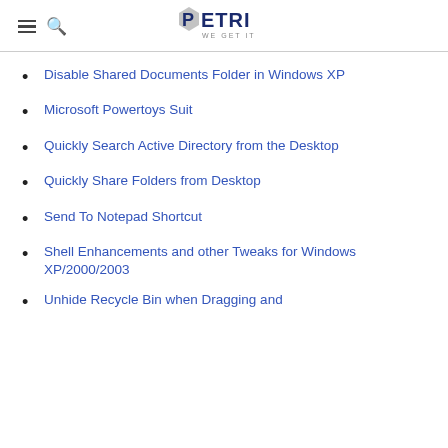PETRI WE GET IT
Disable Shared Documents Folder in Windows XP
Microsoft Powertoys Suit
Quickly Search Active Directory from the Desktop
Quickly Share Folders from Desktop
Send To Notepad Shortcut
Shell Enhancements and other Tweaks for Windows XP/2000/2003
Unhide Recycle Bin when Dragging and